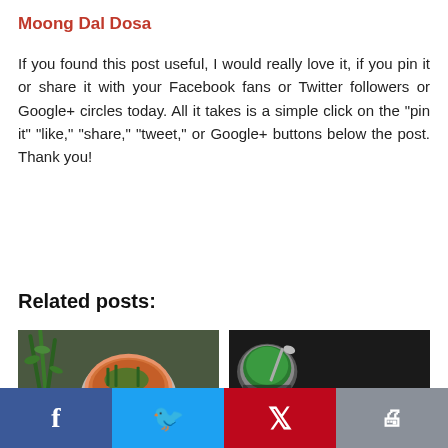Moong Dal Dosa
If you found this post useful, I would really love it, if you pin it or share it with your Facebook fans or Twitter followers or Google+ circles today.  All it takes is a simple click on the “pin it” “like,” “share,” “tweet,” or Google+ buttons below the post.  Thank you!
Related posts:
[Figure (photo): Food photo showing a bowl of soup/curry with herbs and a decorative plate]
[Figure (photo): Food photo showing samosas on a plate with green chutney in a cup]